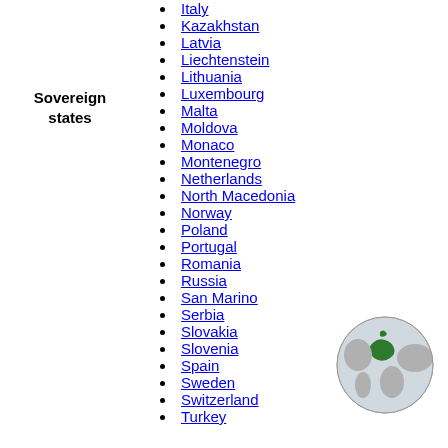Sovereign states
Italy
Kazakhstan
Latvia
Liechtenstein
Lithuania
Luxembourg
Malta
Moldova
Monaco
Montenegro
Netherlands
North Macedonia
Norway
Poland
Portugal
Romania
Russia
San Marino
Serbia
Slovakia
Slovenia
Spain
Sweden
Switzerland
Turkey
[Figure (illustration): Globe showing Europe highlighted in green]